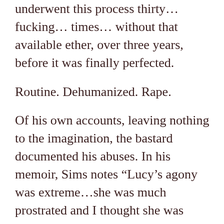underwent this process thirty… fucking… times… without that available ether, over three years, before it was finally perfected.
Routine. Dehumanized. Rape.
Of his own accounts, leaving nothing to the imagination, the bastard documented his abuses. In his memoir, Sims notes “Lucy’s agony was extreme…she was much prostrated and I thought she was going to die.”
Sims stated that “…before the days of anesthetics, and the poor girl, on her knees, bore the operation with several reivings and [...]"